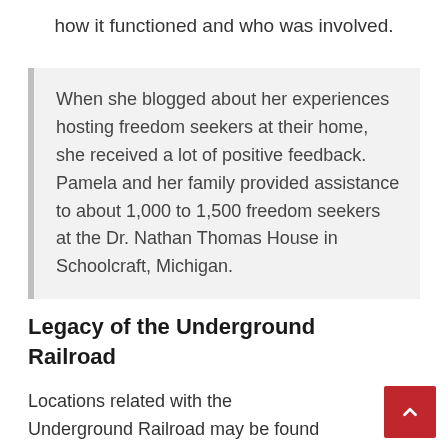how it functioned and who was involved.
When she blogged about her experiences hosting freedom seekers at their home, she received a lot of positive feedback. Pamela and her family provided assistance to about 1,000 to 1,500 freedom seekers at the Dr. Nathan Thomas House in Schoolcraft, Michigan.
Legacy of the Underground Railroad
Locations related with the Underground Railroad may be found all throughout the